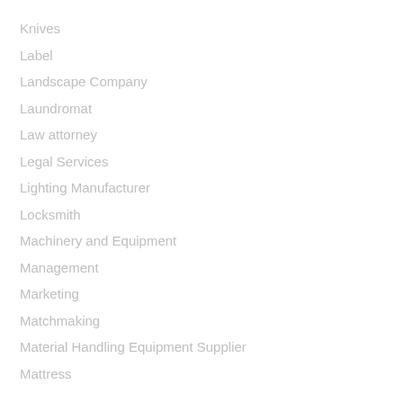Knives
Label
Landscape Company
Laundromat
Law attorney
Legal Services
Lighting Manufacturer
Locksmith
Machinery and Equipment
Management
Marketing
Matchmaking
Material Handling Equipment Supplier
Mattress
Mattress S…